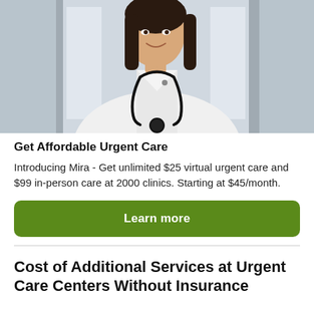[Figure (photo): A smiling female doctor in a white lab coat with a stethoscope around her neck, arms crossed, standing in a bright clinical environment.]
Get Affordable Urgent Care
Introducing Mira - Get unlimited $25 virtual urgent care and $99 in-person care at 2000 clinics. Starting at $45/month.
Learn more
Cost of Additional Services at Urgent Care Centers Without Insurance